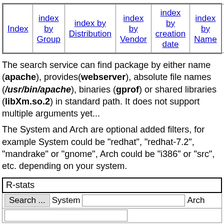| Index | index by Group | index by Distribution | index by Vendor | index by creation date | index by Name | Mirr... |
| --- | --- | --- | --- | --- | --- | --- |
The search service can find package by either name (apache), provides(webserver), absolute file names (/usr/bin/apache), binaries (gprof) or shared libraries (libXm.so.2) in standard path. It does not support multiple arguments yet...
The System and Arch are optional added filters, for example System could be "redhat", "redhat-7.2", "mandrake" or "gnome", Arch could be "i386" or "src", etc. depending on your system.
RPM resource R-stats
This package provides R-stats, one of R-core packages.